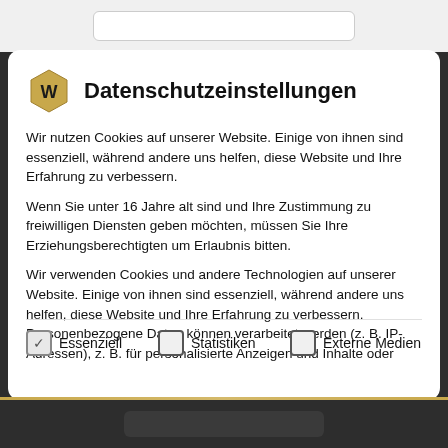[Figure (logo): Hexagonal logo with letter W in gold/tan color]
Datenschutzeinstellungen
Wir nutzen Cookies auf unserer Website. Einige von ihnen sind essenziell, während andere uns helfen, diese Website und Ihre Erfahrung zu verbessern.
Wenn Sie unter 16 Jahre alt sind und Ihre Zustimmung zu freiwilligen Diensten geben möchten, müssen Sie Ihre Erziehungsberechtigten um Erlaubnis bitten.
Wir verwenden Cookies und andere Technologien auf unserer Website. Einige von ihnen sind essenziell, während andere uns helfen, diese Website und Ihre Erfahrung zu verbessern. Personenbezogene Daten können verarbeitet werden (z. B. IP-Adressen), z. B. für personalisierte Anzeigen und Inhalte oder
Essenziell
Statistiken
Externe Medien